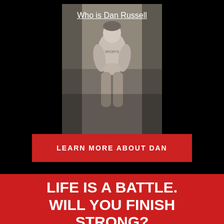[Figure (photo): Black and white photograph of a man (Dan Russell) in athletic wear, seated, with hands clasped, overlaid with an underlined white text link 'Who is Dan Russell' at the top]
LEARN MORE ABOUT DAN
LIFE IS A BATTLE. WILL YOU FINISH STRONG?
Finish Strong is the incredible story of a driven man's pursuit of success and finding purpose